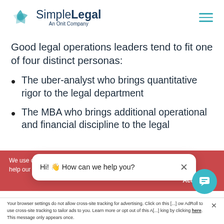[Figure (logo): SimpleLegal logo with teal swirl icon and text 'SimpleLegal An Onit Company']
Good legal operations leaders tend to fit one of four distinct personas:
The uber-analyst who brings quantitative rigor to the legal department
The MBA who brings additional operational and financial discipline to the legal
We use cookies [...]  help our webs[...]
Hi! 👋 How can we help you?
Accept
Your browser settings do not allow cross-site tracking for advertising. Click on this [...] AdRoll to use cross-site tracking to tailor ads to you. Learn more or opt out of this A[...] by clicking here. This message only appears once.